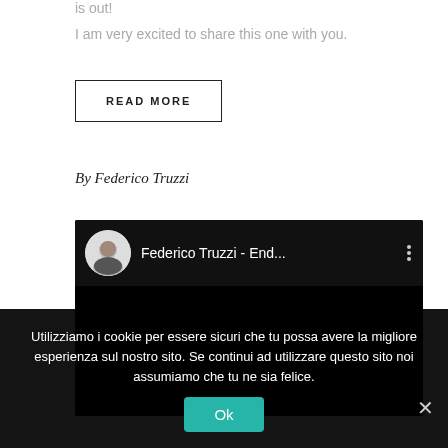is out!
I am very excited to share this one with you.
READ MORE
By Federico Truzzi
[Figure (screenshot): Embedded YouTube video player showing Federico Truzzi - End... with avatar photo and three-dot menu icon, black background.]
Utilizziamo i cookie per essere sicuri che tu possa avere la migliore esperienza sul nostro sito. Se continui ad utilizzare questo sito noi assumiamo che tu ne sia felice.
Ok